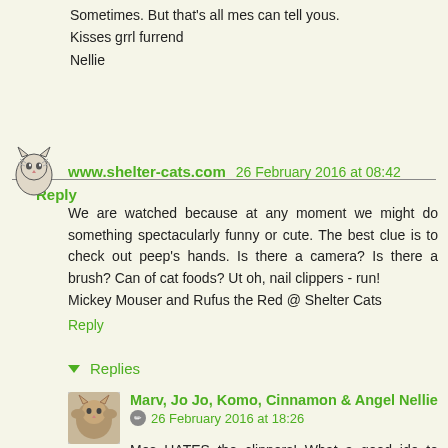Sometimes. But that's all mes can tell yous.
Kisses grrl furrend
Nellie
Reply
www.shelter-cats.com  26 February 2016 at 08:42
We are watched because at any moment we might do something spectacularly funny or cute. The best clue is to check out peep's hands. Is there a camera? Is there a brush? Can of cat foods? Ut oh, nail clippers - run!
Mickey Mouser and Rufus the Red @ Shelter Cats
Reply
Replies
Marv, Jo Jo, Komo, Cinnamon & Angel Nellie  26 February 2016 at 18:26
Mes HATES the clippers! What a good ide to looks at their hands!!!